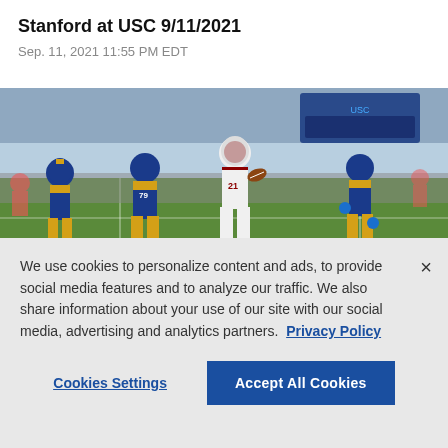Stanford at USC 9/11/2021
Sep. 11, 2021 11:55 PM EDT
[Figure (photo): Football game action photo showing a Stanford player in white uniform carrying the ball, surrounded by UCLA players in blue and gold uniforms on the field.]
We use cookies to personalize content and ads, to provide social media features and to analyze our traffic. We also share information about your use of our site with our social media, advertising and analytics partners.  Privacy Policy
Cookies Settings
Accept All Cookies